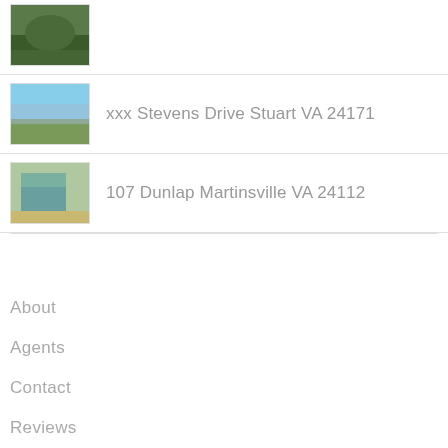[Figure (photo): Thumbnail photo of outdoor landscape/nature scene (trees, water)]
xxx Stevens Drive Stuart VA 24171
[Figure (photo): Thumbnail photo of open field landscape with blue sky]
107 Dunlap Martinsville VA 24112
[Figure (photo): Thumbnail photo of a small house with yard]
About
Agents
Contact
Reviews